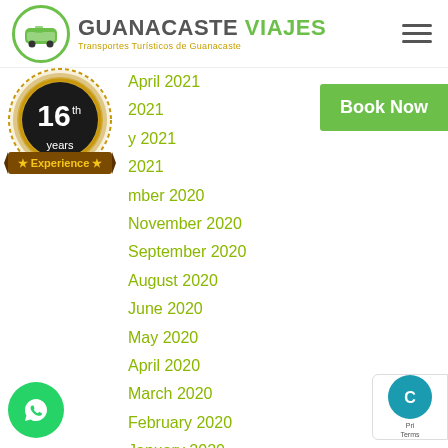GUANACASTE VIAJES — Transportes Turísticos de Guanacaste
[Figure (logo): Guanacaste Viajes logo with green bus icon in circle and tagline 'Transportes Turísticos de Guanacaste']
[Figure (infographic): 16th anniversary experience badge — gold circular seal with dark center showing '16 th' and a ribbon banner reading '★ Experience ★' with 'years' below]
Book Now
April 2021
2021
y 2021
2021
mber 2020
November 2020
September 2020
August 2020
June 2020
May 2020
April 2020
March 2020
February 2020
January 2020
December 2019
November 2019